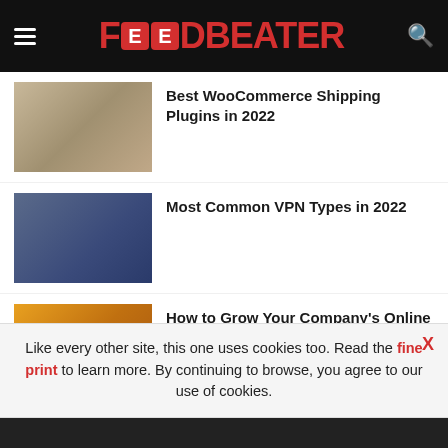FEEDBEATER
Best WooCommerce Shipping Plugins in 2022
Most Common VPN Types in 2022
How to Grow Your Company's Online Presence
Top 4 Elearning App Development Services an Ultimate Guide for Businesses
RECOMMENDED POSTS
Like every other site, this one uses cookies too. Read the fine print to learn more. By continuing to browse, you agree to our use of cookies.